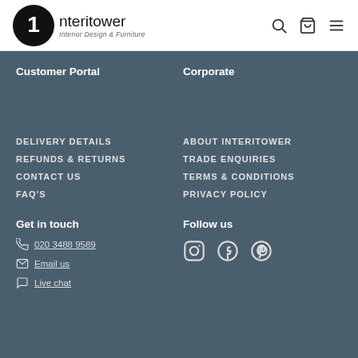Interitower - Interior Design & Furniture
Customer Portal
DELIVERY DETAILS
REFUNDS & RETURNS
CONTACT US
FAQ's
Corporate
ABOUT INTERITOWER
TRADE ENQUIRIES
TERMS & CONDITIONS
PRIVACY POLICY
Get in touch
020 3488 9589
Email us
Live chat
Follow us